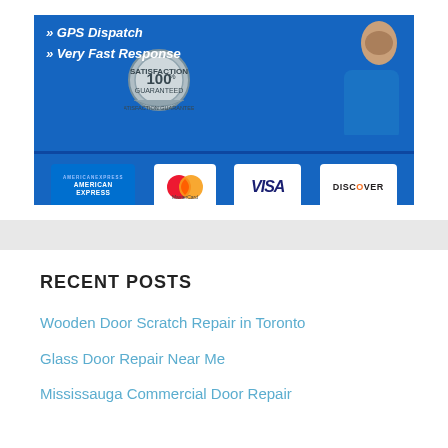[Figure (illustration): Advertisement banner showing GPS Dispatch and Very Fast Response text with 100% Satisfaction Guarantee badge, a woman in blue, and payment cards: American Express, MasterCard, Visa, Discover]
RECENT POSTS
Wooden Door Scratch Repair in Toronto
Glass Door Repair Near Me
Mississauga Commercial Door Repair